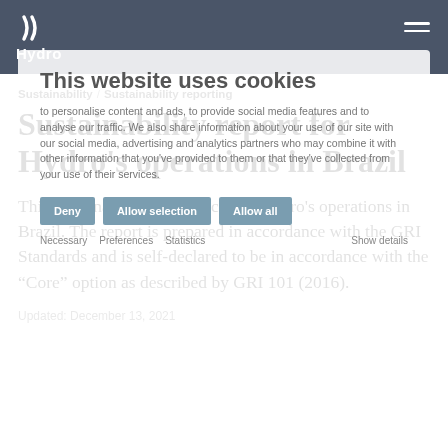Hydro
This website uses cookies
to personalise content and ads, to provide social media features and to analyse our traffic. We also share information about your use of our site with our social media, advertising and analytics partners who may combine it with other information that you've provided to them or that they've collected from your use of their services.
Deny | Allow selection | Allow all
Necessary | Preferences | Statistics | Show details
Sustainability / Sustainability reporting
Sustainability report for Hydro's operations in Brazil
This sustainability report includes Hydro's operations in Brazil. The report is prepared in accordance with the GRI Standards and is self-declared to be in accordance with the “Core” option as described by GRI 101 (2016).
Updated: December 13, 2021